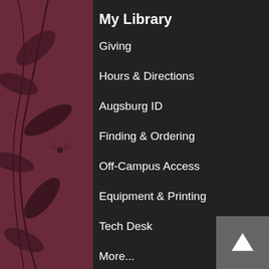[Figure (illustration): Dark maroon/purple decorative background with leaf and vine silhouettes on left and right sides]
My Library
Giving
Hours & Directions
Augsburg ID
Finding & Ordering
Off-Campus Access
Equipment & Printing
Tech Desk
More...
Research
The Place to Start